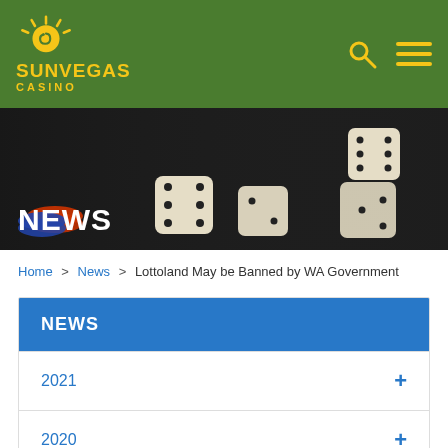[Figure (logo): SunVegas Casino logo with sun icon on green header background with search and menu icons]
[Figure (photo): Hero banner image showing dice and casino chips on dark background with NEWS overlay text]
Home > News > Lottoland May be Banned by WA Government
NEWS
2021 +
2020 +
2019 +